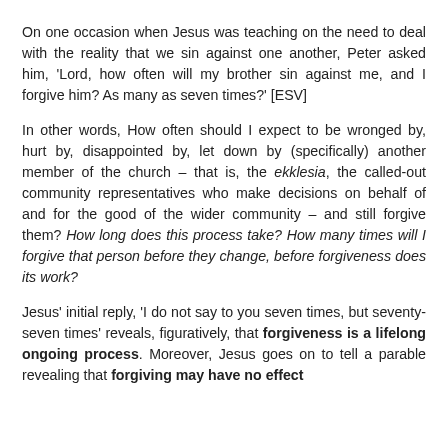On one occasion when Jesus was teaching on the need to deal with the reality that we sin against one another, Peter asked him, 'Lord, how often will my brother sin against me, and I forgive him? As many as seven times?' [ESV]
In other words, How often should I expect to be wronged by, hurt by, disappointed by, let down by (specifically) another member of the church – that is, the ekklesia, the called-out community representatives who make decisions on behalf of and for the good of the wider community – and still forgive them? How long does this process take? How many times will I forgive that person before they change, before forgiveness does its work?
Jesus' initial reply, 'I do not say to you seven times, but seventy-seven times' reveals, figuratively, that forgiveness is a lifelong ongoing process. Moreover, Jesus goes on to tell a parable revealing that forgiving may have no effect